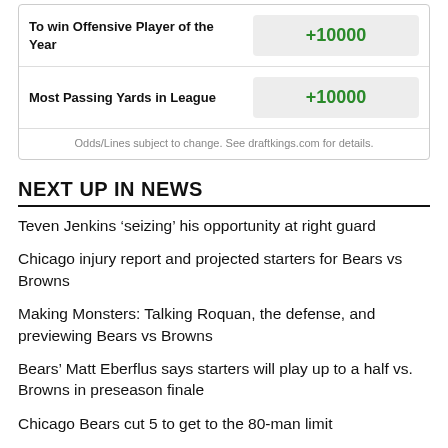| Category | Odds |
| --- | --- |
| To win Offensive Player of the Year | +10000 |
| Most Passing Yards in League | +10000 |
Odds/Lines subject to change. See draftkings.com for details.
NEXT UP IN NEWS
Teven Jenkins ‘seizing’ his opportunity at right guard
Chicago injury report and projected starters for Bears vs Browns
Making Monsters: Talking Roquan, the defense, and previewing Bears vs Browns
Bears’ Matt Eberflus says starters will play up to a half vs. Browns in preseason finale
Chicago Bears cut 5 to get to the 80-man limit